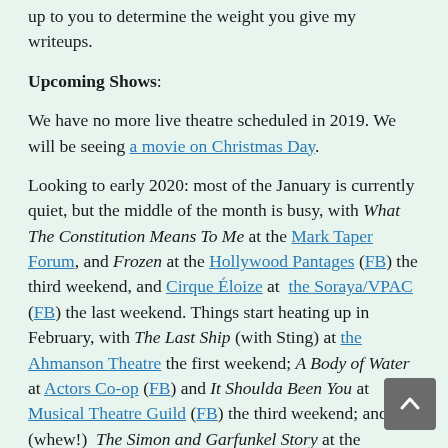up to you to determine the weight you give my writeups.
Upcoming Shows:
We have no more live theatre scheduled in 2019. We will be seeing a movie on Christmas Day.
Looking to early 2020: most of the January is currently quiet, but the middle of the month is busy, with What The Constitution Means To Me at the Mark Taper Forum, and Frozen at the Hollywood Pantages (FB) the third weekend, and Cirque Éloize at the Soraya/VPAC (FB) the last weekend. Things start heating up in February, with The Last Ship (with Sting) at the Ahmanson Theatre the first weekend; A Body of Water at Actors Co-op (FB) and It Shoulda Been You at Musical Theatre Guild (FB) the third weekend; and (whew!) The Simon and Garfunkel Story at the Hollywood Pantages (FB), Escape to Margaritaville at the Dolby Theatre/Broadway in LA (FB), and Step Afrika at the Soraya/VPAC (FB) the fourth weekend. Yes, that is the Pantages and the Dolby the same day — that's what I get